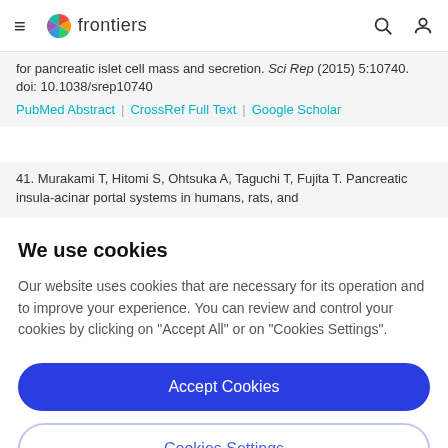frontiers
for pancreatic islet cell mass and secretion. Sci Rep (2015) 5:10740. doi: 10.1038/srep10740
PubMed Abstract | CrossRef Full Text | Google Scholar
41. Murakami T, Hitomi S, Ohtsuka A, Taguchi T, Fujita T. Pancreatic insula-acinar portal systems in humans, rats, and
We use cookies
Our website uses cookies that are necessary for its operation and to improve your experience. You can review and control your cookies by clicking on "Accept All" or on "Cookies Settings".
Accept Cookies
Cookies Settings